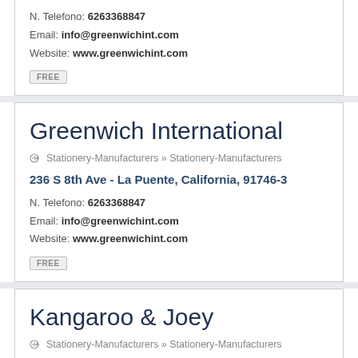N. Telefono: 6263368847
Email: info@greenwichint.com
Website: www.greenwichint.com
FREE
Greenwich International
Stationery-Manufacturers » Stationery-Manufacturers
236 S 8th Ave - La Puente, California, 91746-3
N. Telefono: 6263368847
Email: info@greenwichint.com
Website: www.greenwichint.com
FREE
Kangaroo & Joey
Stationery-Manufacturers » Stationery-Manufacturers
2123 S Priest Dr # 220 - Tempe, Arizona, 85282-1